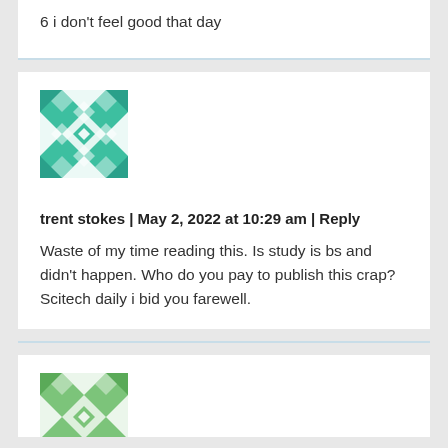6 i don't feel good that day
[Figure (illustration): Green teal geometric quilt-pattern avatar icon for user trent stokes]
trent stokes | May 2, 2022 at 10:29 am | Reply
Waste of my time reading this. Is study is bs and didn't happen. Who do you pay to publish this crap?
Scitech daily i bid you farewell.
[Figure (illustration): Green geometric quilt-pattern avatar icon partially visible at bottom]